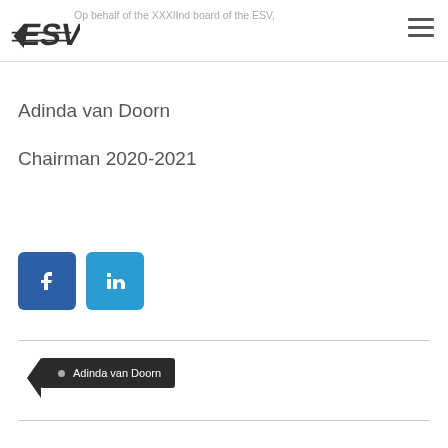Op behalf of the XXXIInd board of the ESV,
Adinda van Doorn
Chairman 2020-2021
[Figure (other): Social media icons: Facebook (blue square with f) and LinkedIn (light blue square with in)]
Adinda van Doorn